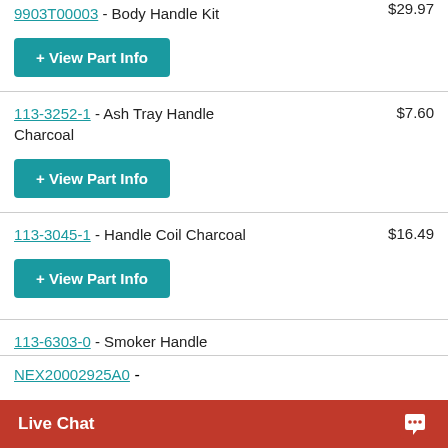9903T00003 - Body Handle Kit $29.97
113-3252-1 - Ash Tray Handle Charcoal $7.60
113-3045-1 - Handle Coil Charcoal $16.49
113-6303-0 - Smoker Handle Charcoal
NEX20002925A0 -